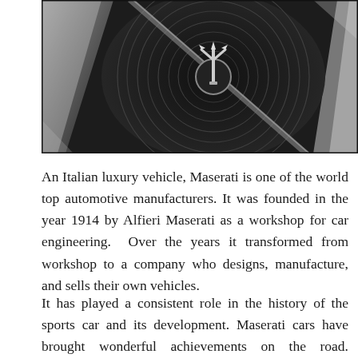[Figure (photo): Close-up black and white photograph of a Maserati trident grille emblem, showing the distinctive chrome trident logo surrounded by circular grille lines and silver chrome accents.]
An Italian luxury vehicle, Maserati is one of the world top automotive manufacturers. It was founded in the year 1914 by Alfieri Maserati as a workshop for car engineering. Over the years it transformed from workshop to a company who designs, manufacture, and sells their own vehicles.
It has played a consistent role in the history of the sports car and its development. Maserati cars have brought wonderful achievements on the road. Currently, it has its operations in about 70 markets. This